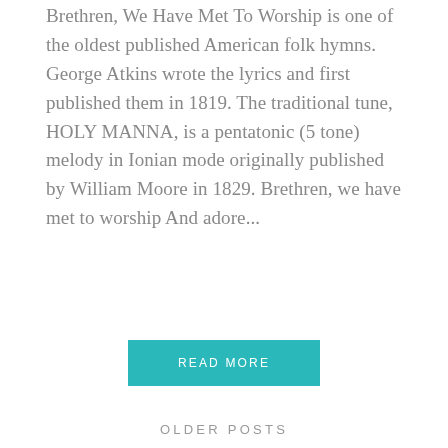Brethren, We Have Met To Worship is one of the oldest published American folk hymns. George Atkins wrote the lyrics and first published them in 1819. The traditional tune, HOLY MANNA, is a pentatonic (5 tone) melody in Ionian mode originally published by William Moore in 1829. Brethren, we have met to worship And adore...
READ MORE
OLDER POSTS
[Figure (photo): Partial view of a person with light-colored hair against a teal/cyan background, cropped at the bottom of the page]